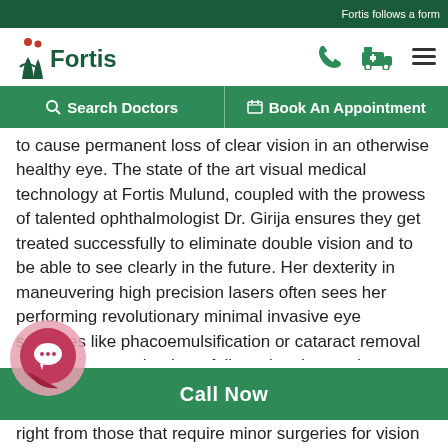Fortis follows a form
[Figure (logo): Fortis Healthcare logo with two human figures and 'Fortis' text in dark green]
[Figure (infographic): Navigation icons: phone, ambulance, hamburger menu]
Search Doctors | Book An Appointment
to cause permanent loss of clear vision in an otherwise healthy eye. The state of the art visual medical technology at Fortis Mulund, coupled with the prowess of talented ophthalmologist Dr. Girija ensures they get treated successfully to eliminate double vision and to be able to see clearly in the future. Her dexterity in maneuvering high precision lasers often sees her performing revolutionary minimal invasive eye surgeries like phacoemulsification or cataract removal through laser technology, followed up by another noninvasive surgical technique called the capsulotomy to improve the clarity of vision post-
right from those that require minor surgeries for vision